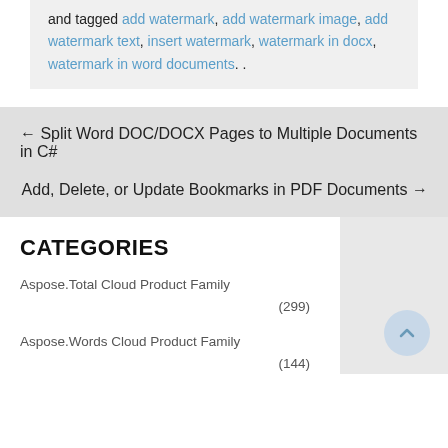and tagged add watermark, add watermark image, add watermark text, insert watermark, watermark in docx, watermark in word documents. .
← Split Word DOC/DOCX Pages to Multiple Documents in C#
Add, Delete, or Update Bookmarks in PDF Documents →
CATEGORIES
Aspose.Total Cloud Product Family (299)
Aspose.Words Cloud Product Family (144)